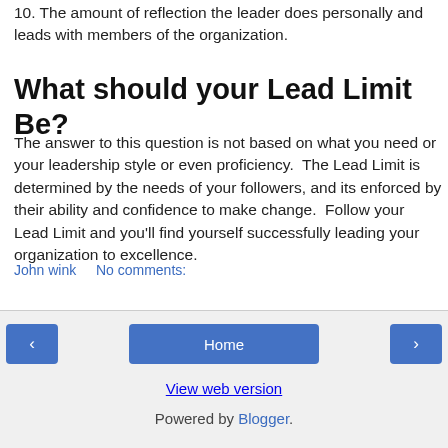10. The amount of reflection the leader does personally and leads with members of the organization.
What should your Lead Limit Be?
The answer to this question is not based on what you need or your leadership style or even proficiency.  The Lead Limit is determined by the needs of your followers, and its enforced by their ability and confidence to make change.  Follow your Lead Limit and you'll find yourself successfully leading your organization to excellence.
John wink    No comments:
Share
Home   View web version   Powered by Blogger.